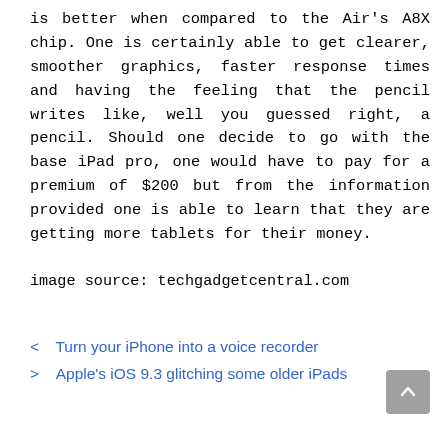is better when compared to the Air's A8X chip. One is certainly able to get clearer, smoother graphics, faster response times and having the feeling that the pencil writes like, well you guessed right, a pencil. Should one decide to go with the base iPad pro, one would have to pay for a premium of $200 but from the information provided one is able to learn that they are getting more tablets for their money.
image source: techgadgetcentral.com
< Turn your iPhone into a voice recorder
> Apple's iOS 9.3 glitching some older iPads